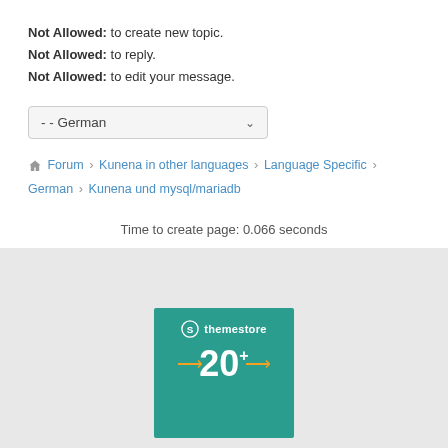Not Allowed: to create new topic.
Not Allowed: to reply.
Not Allowed: to edit your message.
- - German (dropdown)
Forum > Kunena in other languages > Language Specific > German > Kunena und mysql/mariadb
Time to create page: 0.066 seconds
Powered by Kunena Forum
[Figure (logo): themestore banner with teal background showing logo and 20+ text with orange arrows]